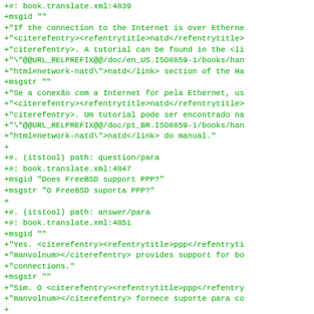+#: book.translate.xml:4839
+msgid ""
+"If the connection to the Internet is over Etherne
+"<citerefentry><refentrytitle>natd</refentrytitle>
+"citerefentry>. A tutorial can be found in the <li
+"\"@@URL_RELPREFIX@@/doc/en_US.ISO8859-1/books/han
+"html#network-natd\">natd</link> section of the Ha
+msgstr ""
+"Se a conexão com a Internet for pela Ethernet, us
+"<citerefentry><refentrytitle>natd</refentrytitle>
+"citerefentry>. Um tutorial pode ser encontrado na
+"\"@@URL_RELPREFIX@@/doc/pt_BR.ISO8859-1/books/han
+"html#network-natd\">natd</link> do manual."
+
+#. (itstool) path: question/para
+#: book.translate.xml:4847
+msgid "Does FreeBSD support PPP?"
+msgstr "O FreeBSD suporta PPP?"
+
+#. (itstool) path: answer/para
+#: book.translate.xml:4851
+msgid ""
+"Yes. <citerefentry><refentrytitle>ppp</refentryti
+"manvolnum></citerefentry> provides support for bo
+"connections."
+msgstr ""
+"Sim. O <citerefentry><refentrytitle>ppp</refentry
+"manvolnum></citerefentry> fornece suporte para co
+
+#. (itstool) path: answer/para